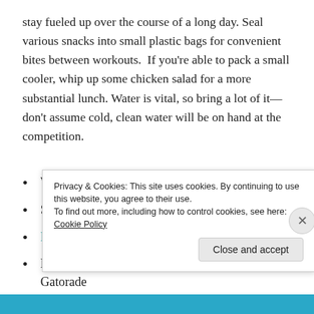stay fueled up over the course of a long day. Seal various snacks into small plastic bags for convenient bites between workouts.  If you're able to pack a small cooler, whip up some chicken salad for a more substantial lunch. Water is vital, so bring a lot of it—don't assume cold, clean water will be on hand at the competition.
Water
Shaker bottle
Pre and post workout supplements
Electrolyte replenishment: Coconut water or Gatorade
Privacy & Cookies: This site uses cookies. By continuing to use this website, you agree to their use.
To find out more, including how to control cookies, see here: Cookie Policy
Close and accept